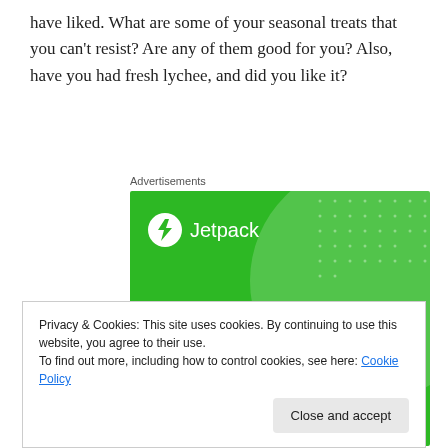have liked. What are some of your seasonal treats that you can't resist? Are any of them good for you? Also, have you had fresh lychee, and did you like it?
[Figure (illustration): Jetpack advertisement banner with green background, Jetpack logo and bolt icon, text 'We guard your WordPress site. You run your business.' with decorative circle and dot pattern.]
Privacy & Cookies: This site uses cookies. By continuing to use this website, you agree to their use.
To find out more, including how to control cookies, see here: Cookie Policy